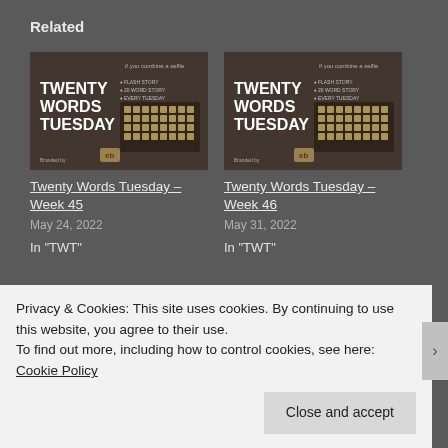Related
[Figure (illustration): Thumbnail image of Twenty Words Tuesday blog post showing a vintage typewriter with bold text overlay reading TWENTY WORDS TUESDAY]
Twenty Words Tuesday – Week 45
May 24, 2022
In "TWT"
[Figure (illustration): Thumbnail image of Twenty Words Tuesday blog post showing a vintage typewriter with bold text overlay reading TWENTY WORDS TUESDAY]
Twenty Words Tuesday – Week 46
May 31, 2022
In "TWT"
[Figure (illustration): Partial thumbnail image of a third Twenty Words Tuesday blog post, cut off at bottom]
Privacy & Cookies: This site uses cookies. By continuing to use this website, you agree to their use.
To find out more, including how to control cookies, see here: Cookie Policy
Close and accept